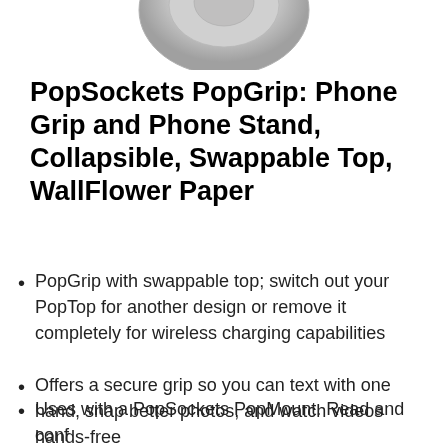[Figure (photo): Partial view of a PopSocket device, gray/silver color, showing the top portion against a white background]
PopSockets PopGrip: Phone Grip and Phone Stand, Collapsible, Swappable Top, WallFlower Paper
PopGrip with swappable top; switch out your PopTop for another design or remove it completely for wireless charging capabilities
Offers a secure grip so you can text with one hand, snap better photos, and watch videos hands-free
Uses with a PopSockets PopMount. Read and conf...